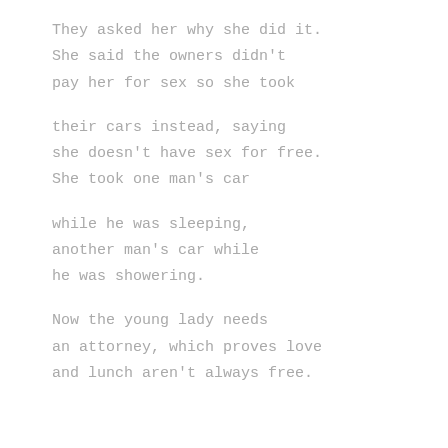They asked her why she did it.
She said the owners didn't
pay her for sex so she took

their cars instead, saying
she doesn't have sex for free.
She took one man's car

while he was sleeping,
another man's car while
he was showering.

Now the young lady needs
an attorney, which proves love
and lunch aren't always free.